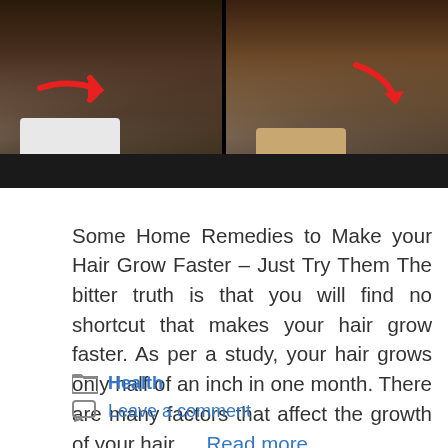[Figure (photo): Two side-by-side photos of women's hair with red arrows pointing to hair growth area, with a dark black bar at the bottom]
Some Home Remedies to Make your Hair Grow Faster – Just Try Them The bitter truth is that you will find no shortcut that makes your hair grow faster. As per a study, your hair grows only half of an inch in one month. There are many factors that affect the growth of your hair … Read more
Health
Leave a comment